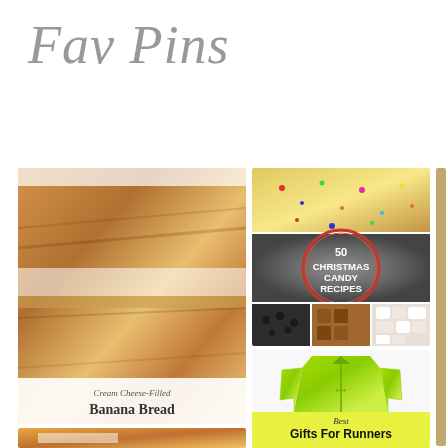Fav Pins
[Figure (photo): Cream Cheese-Filled Banana Bread – sliced loaf showing cream cheese layer, with caption below]
[Figure (photo): 50 Christmas Candy Recipes collage with sprinkle fudge on top, text overlay in middle, cookies/marshmallows at bottom]
[Figure (photo): Best Gifts For Runners – neon green running jacket with script Best above bold Gifts For Runners text, smaller photos of runners below]
[Figure (photo): Bento box meal prep flat lay showing two sets of sectioned containers with various snacks including berries, nuts, fruits]
[Figure (photo): Meal prep spread on long table with water bottles, bananas, protein powder, and containers of food]